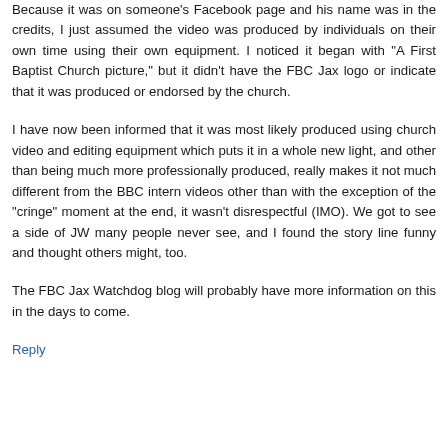Because it was on someone's Facebook page and his name was in the credits, I just assumed the video was produced by individuals on their own time using their own equipment. I noticed it began with "A First Baptist Church picture," but it didn't have the FBC Jax logo or indicate that it was produced or endorsed by the church.
I have now been informed that it was most likely produced using church video and editing equipment which puts it in a whole new light, and other than being much more professionally produced, really makes it not much different from the BBC intern videos other than with the exception of the "cringe" moment at the end, it wasn't disrespectful (IMO). We got to see a side of JW many people never see, and I found the story line funny and thought others might, too.
The FBC Jax Watchdog blog will probably have more information on this in the days to come.
Reply